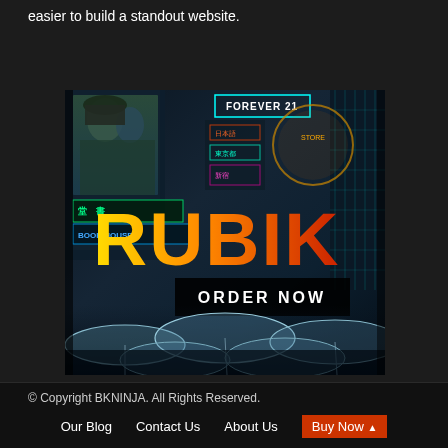easier to build a standout website.
[Figure (screenshot): Advertisement banner for 'RUBIK' theme showing a neon-lit city street scene at night with umbrellas in foreground, large RUBIK text in yellow-orange-red gradient, a 'FOREVER 21' sign, Japanese/Chinese neon signs, and an 'ORDER NOW' button.]
© Copyright BKNINJA. All Rights Reserved.
Our Blog   Contact Us   About Us   Buy Now